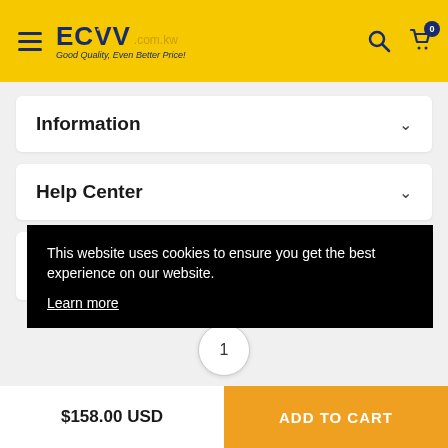ECVV.com.kw — Good Quality, Even Better Price!
Information
Help Center
M
This website uses cookies to ensure you get the best experience on our website. Learn more
1
$158.00 USD
ADD TO CART